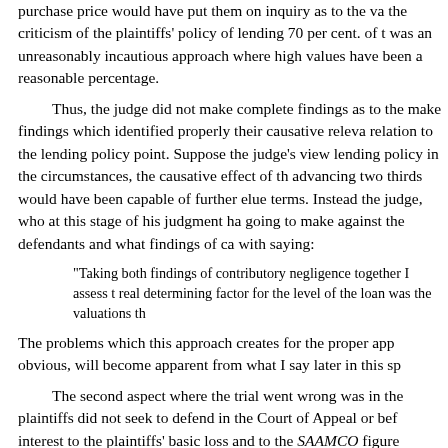purchase price would have put them on inquiry as to the value the criticism of the plaintiffs' policy of lending 70 per cent. of t was an unreasonably incautious approach where high values have been a reasonable percentage.
Thus, the judge did not make complete findings as to the make findings which identified properly their causative releva relation to the lending policy point. Suppose the judge's view lending policy in the circumstances, the causative effect of th advancing two thirds would have been capable of further elue terms. Instead the judge, who at this stage of his judgment ha going to make against the defendants and what findings of ca with saying:
"Taking both findings of contributory negligence together I assess t real determining factor for the level of the loan was the valuations th
The problems which this approach creates for the proper app obvious, will become apparent from what I say later in this sp
The second aspect where the trial went wrong was in the plaintiffs did not seek to defend in the Court of Appeal or bef interest to the plaintiffs' basic loss and to the SAAMCO figure whether or not there was a SAAMCO limit applicable to the p there was not and he therefore arrived at a figure which corre (the £489,398.81 figure).
A further complication then arose with regard to the awar his judgment the decision in your Lordships' House in the Ny required a different approach to the calculation of interest to got to the Court of Appeal, it was agreed that a remission wa concerned with that aspect on this appeal and I need say no